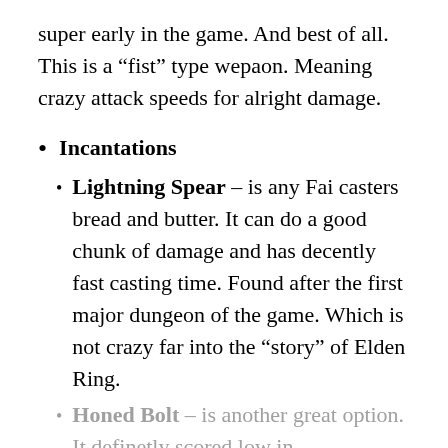super early in the game. And best of all. This is a “fist” type wepaon. Meaning crazy attack speeds for alright damage.
Incantations
Lightning Spear – is any Fai casters bread and butter. It can do a good chunk of damage and has decently fast casting time. Found after the first major dungeon of the game. Which is not crazy far into the “story” of Elden Ring.
Honed Bolt – is another great option. It definetly scored low in